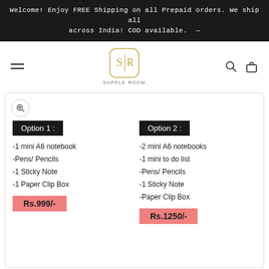Welcome! Enjoy FREE Shipping on all Prepaid orders. We ship all across India! COD available. →
[Figure (logo): Supple Room logo — stylized S|R inside a rounded square with gold border, text SUPPLE ROOM below]
[Figure (infographic): Product option card showing Option 1 and Option 2 with contents and prices]
Option 1:
-1 mini A6 notebook
-Pens/ Pencils
-1 Sticky Note
-1 Paper Clip Box
Rs.999/-
Option 2:
-2 mini A6 notebooks
-1 mini to do list
-Pens/ Pencils
-1 Sticky Note
-Paper Clip Box
Rs.1250/-